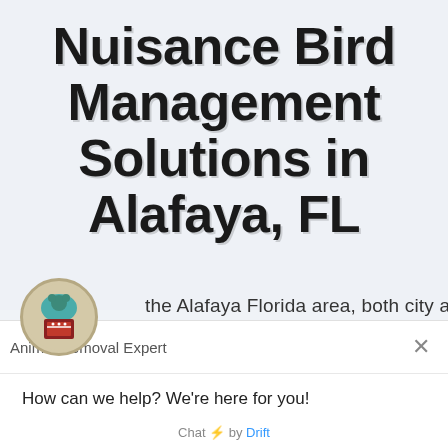Nuisance Bird Management Solutions in Alafaya, FL
the Alafaya Florida area, both city and
[Figure (logo): Animal removal expert circular badge logo with a bear/animal image and shield emblem]
Animal Removal Expert
How can we help? We're here for you!
Reply to Animal Removal Expert
Chat ⚡ by Drift